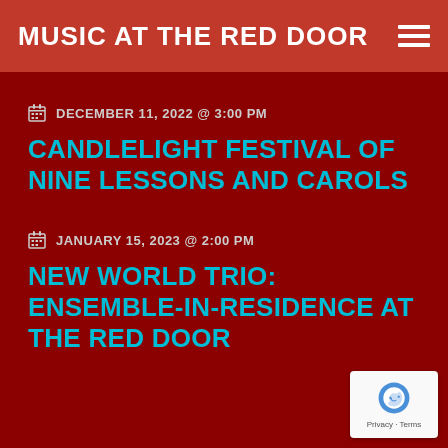MUSIC AT THE RED DOOR
DECEMBER 11, 2022 @ 3:00 PM
CANDLELIGHT FESTIVAL OF NINE LESSONS AND CAROLS
JANUARY 15, 2023 @ 2:00 PM
NEW WORLD TRIO: ENSEMBLE-IN-RESIDENCE AT THE RED DOOR